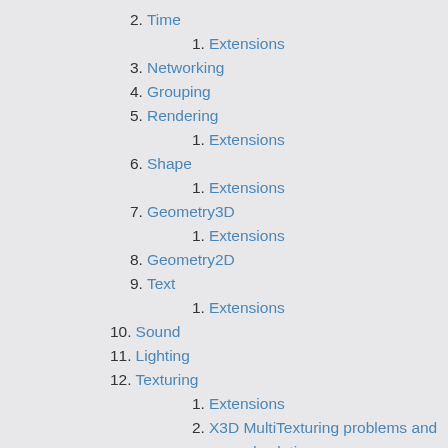2. Time
1. Extensions
3. Networking
4. Grouping
5. Rendering
1. Extensions
6. Shape
1. Extensions
7. Geometry3D
1. Extensions
8. Geometry2D
9. Text
1. Extensions
10. Sound
11. Lighting
12. Texturing
1. Extensions
2. X3D MultiTexturing problems and proposed solutions